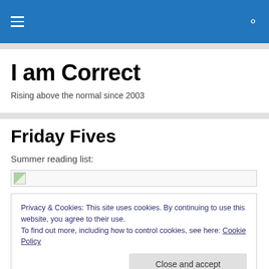Navigation bar with hamburger menu and search icon
I am Correct
Rising above the normal since 2003
Friday Fives
Summer reading list:
[Figure (other): Broken image placeholder icon]
Privacy & Cookies: This site uses cookies. By continuing to use this website, you agree to their use.
To find out more, including how to control cookies, see here: Cookie Policy
[Close and accept]